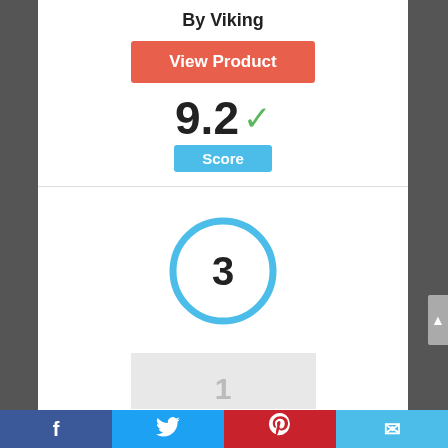By Viking
View Product
9.2 ✓
Score
[Figure (other): Circle with number 3 inside, blue outline]
[Figure (other): Partial thumbnail image at bottom]
Facebook | Twitter | Pinterest | Email social share bar